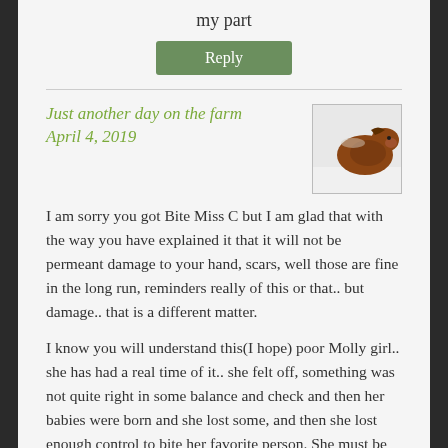my part
Reply
Just another day on the farm
April 4, 2019
[Figure (photo): Small thumbnail photo of a brown/reddish horse or cow in snowy conditions]
I am sorry you got Bite Miss C but I am glad that with the way you have explained it that it will not be permeant damage to your hand, scars, well those are fine in the long run, reminders really of this or that.. but damage.. that is a different matter.
I know you will understand this(I hope) poor Molly girl.. she has had a real time of it.. she felt off, something was not quite right in some balance and check and then her babies were born and she lost some, and then she lost enough control to bite her favorite person. She must be really off and there is a